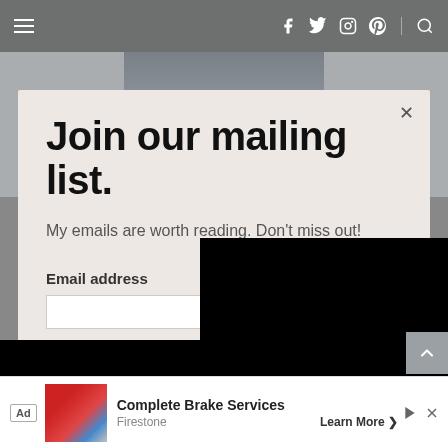Navigation bar with hamburger menu and social icons (f, twitter, instagram, pinterest, search)
[Figure (photo): Website screenshot showing a person in background, partially visible above modal dialog]
Join our mailing list.
My emails are worth reading. Don't miss out!
Email address
Ad — Complete Brake Services — Firestone — Learn More